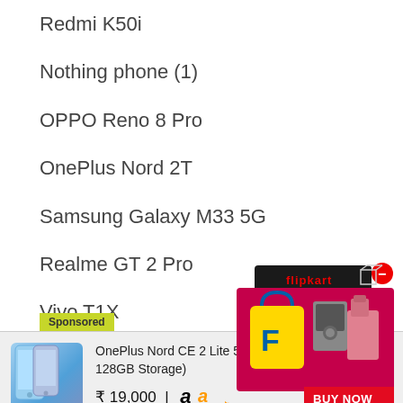Redmi K50i
Nothing phone (1)
OPPO Reno 8 Pro
OnePlus Nord 2T
Samsung Galaxy M33 5G
Realme GT 2 Pro
Vivo T1X
Sponsored
[Figure (infographic): Flipkart advertisement box with shopping bag, appliances, and BUY NOW button]
OnePlus Nord CE 2 Lite 5G (Blue Tide, 6GB RAM, 128GB Storage)
₹ 19,000 | Amazon